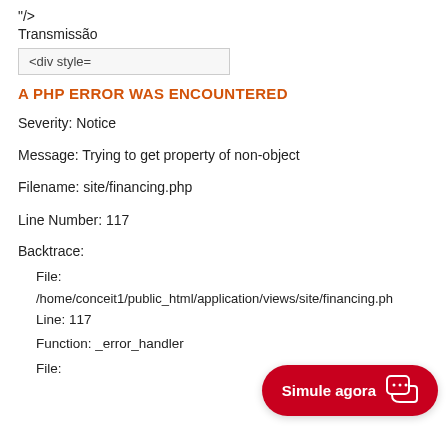"/>
Transmissão
<div style=
A PHP ERROR WAS ENCOUNTERED
Severity: Notice
Message: Trying to get property of non-object
Filename: site/financing.php
Line Number: 117
Backtrace:
File:
/home/conceit1/public_html/application/views/site/financing.ph
Line: 117
Function: _error_handler
File: